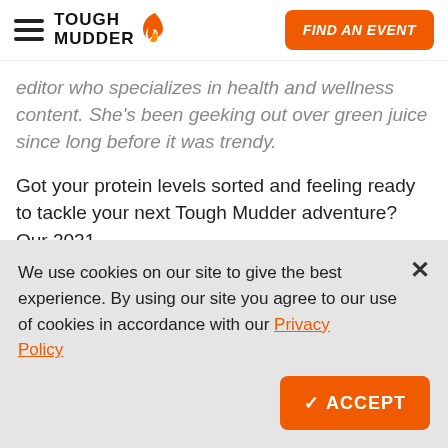TOUGH MUDDER — FIND AN EVENT
editor who specializes in health and wellness content. She's been geeking out over green juice since long before it was trendy.
Got your protein levels sorted and feeling ready to tackle your next Tough Mudder adventure? Our 2021
We use cookies on our site to give the best experience. By using our site you agree to our use of cookies in accordance with our Privacy Policy